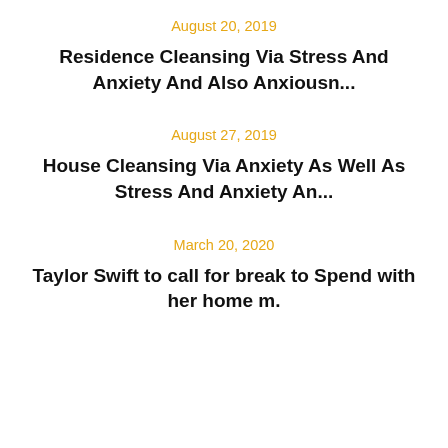August 20, 2019
Residence Cleansing Via Stress And Anxiety And Also Anxiousn...
August 27, 2019
House Cleansing Via Anxiety As Well As Stress And Anxiety An...
March 20, 2020
Taylor Swift to call for break to Spend with her home m.